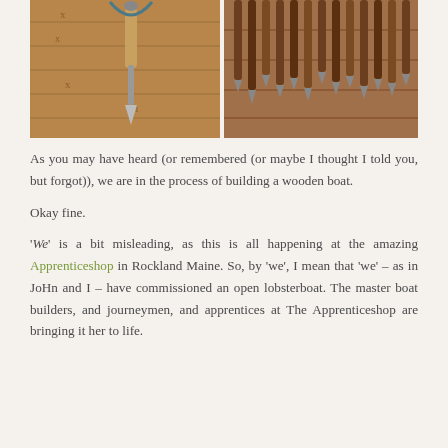[Figure (photo): Two side-by-side photographs showing wooden boat-building tools: on the left, a hand tool hanging against a cedar-plank wall with X-marked wood; on the right, a row of handles for chisels or gouges hanging on a wooden rack.]
As you may have heard (or remembered (or maybe I thought I told you, but forgot)), we are in the process of building a wooden boat.
Okay fine.
'We' is a bit misleading, as this is all happening at the amazing Apprenticeshop in Rockland Maine. So, by 'we', I mean that 'we' – as in JoHn and I – have commissioned an open lobsterboat. The master boat builders, and journeymen, and apprentices at The Apprenticeshop are bringing it her to life.